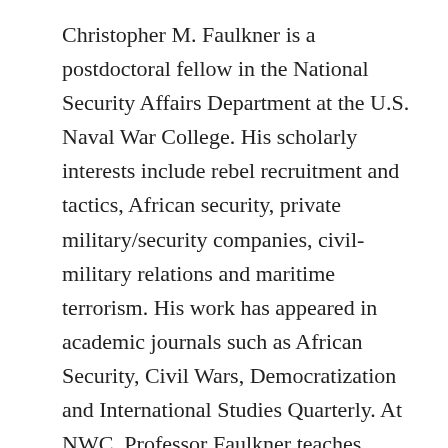Christopher M. Faulkner is a postdoctoral fellow in the National Security Affairs Department at the U.S. Naval War College. His scholarly interests include rebel recruitment and tactics, African security, private military/security companies, civil-military relations and maritime terrorism. His work has appeared in academic journals such as African Security, Civil Wars, Democratization and International Studies Quarterly. At NWC, Professor Faulkner teaches courses on National Security and Theater Security Decision Making. Previously, he served as a postdoctoral researcher at the University of Central